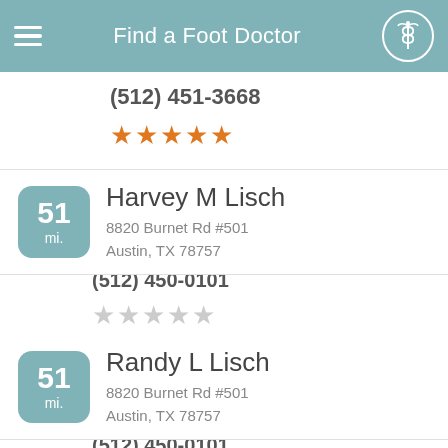Find a Foot Doctor
(512) 451-3668
[Figure (other): 5 filled orange stars rating]
Harvey M Lisch
8820 Burnet Rd #501
Austin, TX 78757
(512) 450-0101
51 mi.
[Figure (other): 5 empty gray stars rating]
Randy L Lisch
8820 Burnet Rd #501
Austin, TX 78757
(512) 450-0101
51 mi.
[Figure (other): Partially visible star rating at bottom]